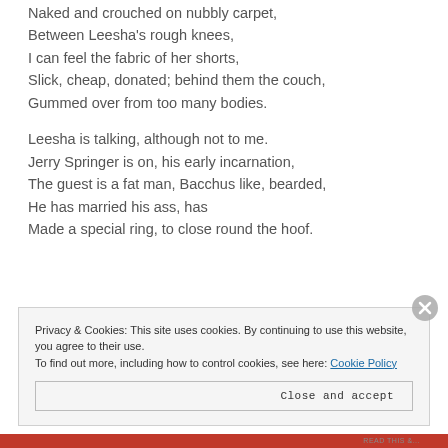Naked and crouched on nubbly carpet,
Between Leesha's rough knees,
I can feel the fabric of her shorts,
Slick, cheap, donated; behind them the couch,
Gummed over from too many bodies.
Leesha is talking, although not to me.
Jerry Springer is on, his early incarnation,
The guest is a fat man, Bacchus like, bearded,
He has married his ass, has
Made a special ring, to close round the hoof.
Privacy & Cookies: This site uses cookies. By continuing to use this website, you agree to their use.
To find out more, including how to control cookies, see here: Cookie Policy
Close and accept